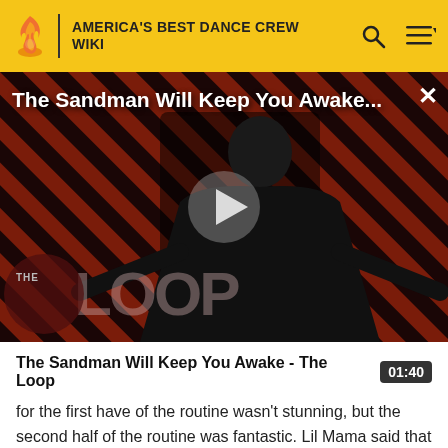AMERICA'S BEST DANCE CREW WIKI
[Figure (screenshot): Video thumbnail showing a figure in black costume against a red and black diagonal striped background, with 'THE LOOP' watermark text. Play button overlay in center. Title overlay reads 'The Sandman Will Keep You Awake...' with a close X button.]
The Sandman Will Keep You Awake - The Loop
for the first have of the routine wasn't stunning, but the second half of the routine was fantastic. Lil Mama said that it started a little slow, but it picked up. D'trix said that